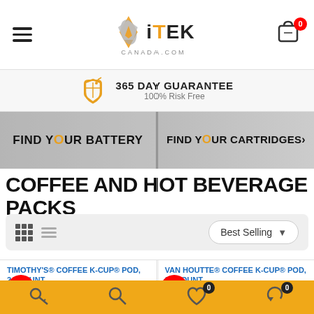iTEK CANADA.COM — Cart: 0
365 DAY GUARANTEE — 100% Risk Free
[Figure (screenshot): Banner with two sections: FIND YOUR BATTERY on the left and FIND YOUR CARTRIDGES on the right, with magnifying glass icons replacing the O letters.]
COFFEE AND HOT BEVERAGE PACKS
Best Selling (sort dropdown)
TIMOTHY'S® COFFEE K-CUP® POD, 24 COUNT — SALE
VAN HOUTTE® COFFEE K-CUP® POD, 24 COUNT — SALE
Bottom navigation bar with key, search, wishlist (0), and cart (0) icons